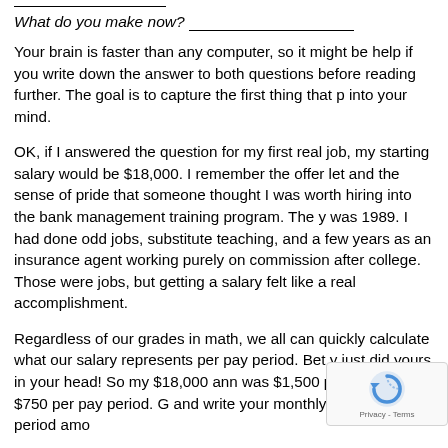_______________
What do you make now? _______________
Your brain is faster than any computer, so it might be help if you write down the answer to both questions before reading further. The goal is to capture the first thing that p into your mind.
OK, if I answered the question for my first real job, my starting salary would be $18,000. I remember the offer let and the sense of pride that someone thought I was worth hiring into the bank management training program. The y was 1989. I had done odd jobs, substitute teaching, and a few years as an insurance agent working purely on commission after college. Those were jobs, but getting a salary felt like a real accomplishment.
Regardless of our grades in math, we all can quickly calculate what our salary represents per pay period. Bet y just did yours in your head! So my $18,000 ann was $1,500 per month or $750 per pay period. G and write your monthly and per pay period amo